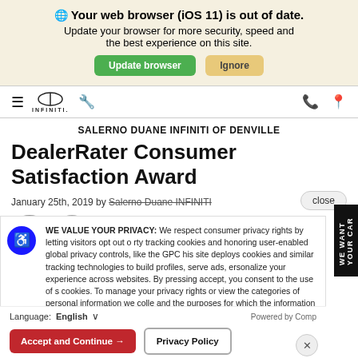Your web browser (iOS 11) is out of date. Update your browser for more security, speed and the best experience on this site.
Update browser | Ignore
[Figure (logo): INFINITI logo with hamburger menu, wrench icon, phone and location icons in navigation bar]
SALERNO DUANE INFINITI OF DENVILLE
DealerRater Consumer Satisfaction Award
January 25th, 2019 by Salerno Duane INFINITI
close
WE VALUE YOUR PRIVACY: We respect consumer privacy rights by letting visitors opt out of party tracking cookies and honoring user-enabled global privacy controls, like the GPC. This site deploys cookies and similar tracking technologies to build profiles, serve ads, personalize your experience across websites. By pressing accept, you consent to the use of such cookies. To manage your privacy rights or view the categories of personal information we collect and the purposes for which the information is used, click here.
Language: English ∨  Powered by Comp
Accept and Continue →  |  Privacy Policy
WE WANT YOUR CAR